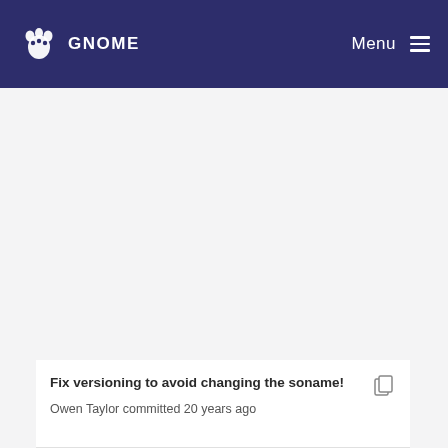GNOME  Menu
[Figure (screenshot): Empty light gray content area above commit block]
Fix versioning to avoid changing the soname!
Owen Taylor committed 20 years ago